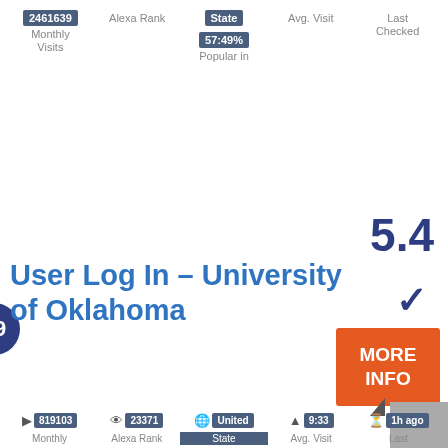2461639 | Alexa Rank | State | Avg. Visit | Last Checked
Monthly Visits | 57:49% Popular in
19
5.4
User Log In – University of Oklahoma
MORE INFO
819103 | 23371 | United | 9:33 | 1h ago
Monthly | Alexa Rank | State | Avg. Visit | Last